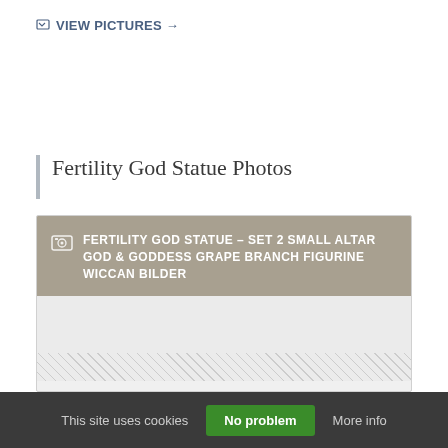VIEW PICTURES →
Fertility God Statue Photos
[Figure (screenshot): Photo card with dark tan/grey header showing title text: FERTILITY GOD STATUE – SET 2 SMALL ALTAR GOD & GODDESS GRAPE BRANCH FIGURINE WICCAN BILDER, with a grey body area and hatched bottom stripe]
This site uses cookies  No problem  More info